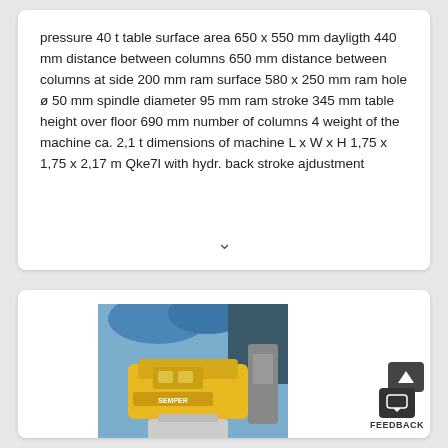pressure 40 t table surface area 650 x 550 mm dayligth 440 mm distance between columns 650 mm distance between columns at side 200 mm ram surface 580 x 250 mm ram hole ø 50 mm spindle diameter 95 mm ram stroke 345 mm table height over floor 690 mm number of columns 4 weight of the machine ca. 2,1 t dimensions of machine L x W x H 1,75 x 1,75 x 2,17 m Qke7l with hydr. back stroke ajdustment
[Figure (photo): Photo of an industrial machine (yellow and beige colored, appears to be a press or similar machinery) with blue plastic covering in the background and other workshop equipment visible.]